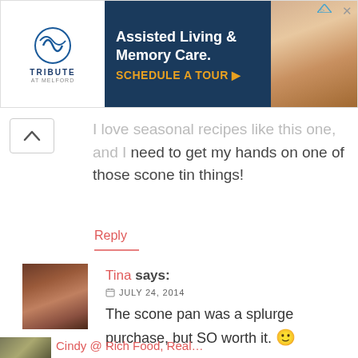[Figure (other): Tribute at Melford advertisement banner — Assisted Living & Memory Care, Schedule a Tour]
I love seasonal recipes like this one, and I need to get my hands on one of those scone tin things!
Reply
[Figure (photo): Avatar photo of commenter Tina — woman smiling]
Tina says:
JULY 24, 2014
The scone pan was a splurge purchase, but SO worth it. 🙂
Reply
[Figure (photo): Partial avatar of another commenter at bottom]
Cindy @ Rich Food, Real…